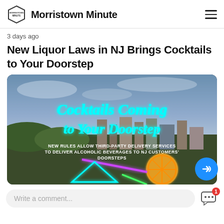Morristown Minute
3 days ago
New Liquor Laws in NJ Brings Cocktails to Your Doorstep
[Figure (photo): Aerial photo of a town with neon-style text overlay reading 'Cocktails Coming to Your Doorstep' and subtitle 'New Rules Allow Third-Party Delivery Services to Deliver Alcoholic Beverages to NJ Customers' Doorsteps', with neon decorative cocktail graphics.]
Write a comment...